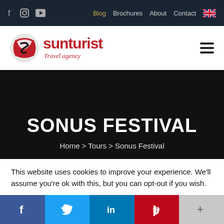f  ⓘ  ▶  |  Blog  Brochures  About  Contact  🇬🇧
[Figure (logo): Sunturist Travel Agency logo — red stylized S globe icon with bold red 'sunturist' wordmark and italic red 'Travel agency' tagline beneath]
SONUS FESTIVAL
Home > Tours > Sonus Festival
This website uses cookies to improve your experience. We'll assume you're ok with this, but you can opt-out if you wish.
[Figure (infographic): Social sharing bar with five buttons: Facebook (dark blue), Twitter (light blue), LinkedIn (medium blue), Pinterest (red), More/plus (grey)]